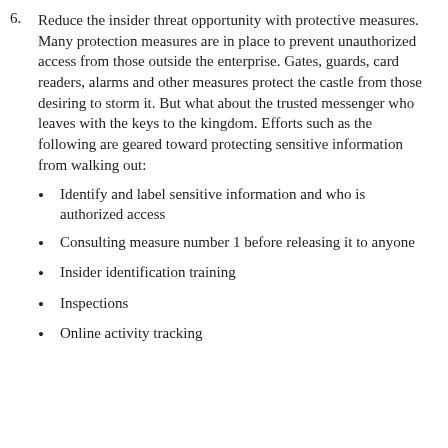6. Reduce the insider threat opportunity with protective measures. Many protection measures are in place to prevent unauthorized access from those outside the enterprise. Gates, guards, card readers, alarms and other measures protect the castle from those desiring to storm it. But what about the trusted messenger who leaves with the keys to the kingdom. Efforts such as the following are geared toward protecting sensitive information from walking out:
Identify and label sensitive information and who is authorized access
Consulting measure number 1 before releasing it to anyone
Insider identification training
Inspections
Online activity tracking